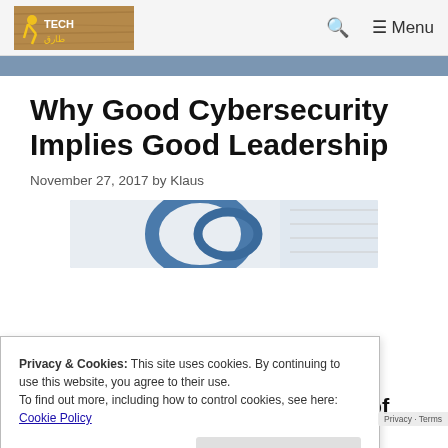[Figure (logo): Tech website logo with Arabic text, yellow/gold graphic mark on left, wooden background]
🔍  ≡ Menu
Why Good Cybersecurity Implies Good Leadership
November 27, 2017 by Klaus
[Figure (photo): Partial photo of a blue ethernet cable or similar cable on light background]
Privacy & Cookies: This site uses cookies. By continuing to use this website, you agree to their use.
To find out more, including how to control cookies, see here:
Cookie Policy
Close and accept
In the not-so-distant past, cybersecurity typically the forgotten stepchild of an
Privacy · Terms